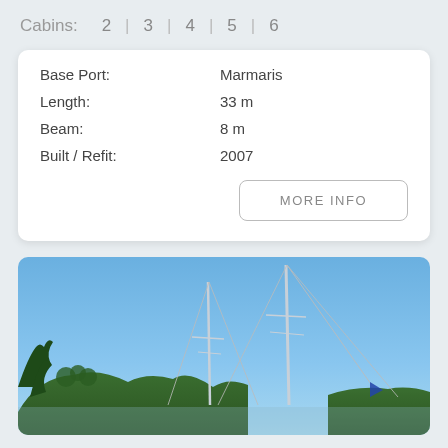Cabins: 2 | 3 | 4 | 5 | 6
| Base Port: | Marmaris |
| Length: | 33 m |
| Beam: | 8 m |
| Built / Refit: | 2007 |
MORE INFO
[Figure (photo): A sailing yacht with two tall masts visible against a clear blue sky, with forested hills in the background.]